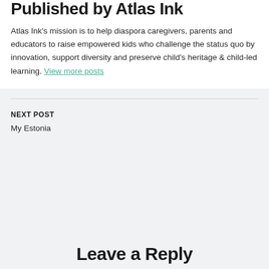Published by Atlas Ink
Atlas Ink's mission is to help diaspora caregivers, parents and educators to raise empowered kids who challenge the status quo by innovation, support diversity and preserve child's heritage & child-led learning. View more posts
NEXT POST
My Estonia
Leave a Reply